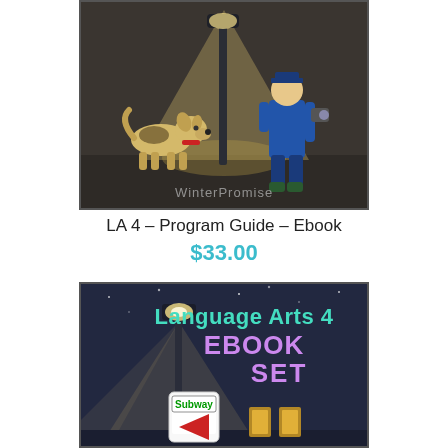[Figure (illustration): Book cover illustration showing a dog and a detective-like figure under a street lamp at night, with WinterPromise watermark text]
LA 4 – Program Guide – Ebook
$33.00
[Figure (illustration): Book cover for Language Arts 4 EBOOK SET showing a street lamp at night with a phone displaying 'Subway' and book icons]